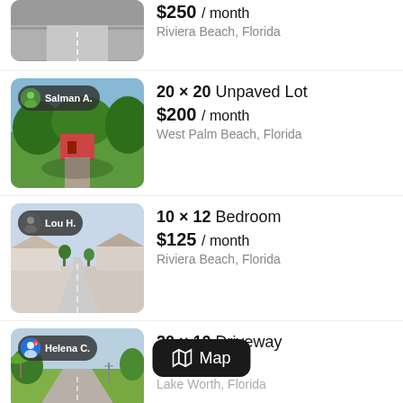[Figure (screenshot): Mobile app listing for parking/storage spaces. Shows 4 listing items: (1) partial top item $250/month Riviera Beach Florida, (2) 20x20 Unpaved Lot $200/month West Palm Beach Florida by Salman A., (3) 10x12 Bedroom $125/month Riviera Beach Florida by Lou H., (4) 20x10 Driveway Lake Worth Florida by Helena C. A Map button overlay appears over the 4th listing.]